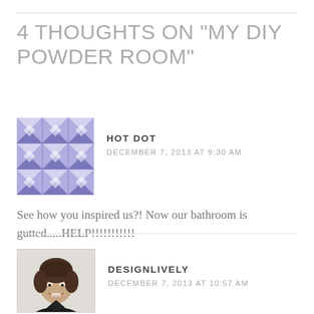4 THOUGHTS ON "MY DIY POWDER ROOM"
[Figure (illustration): Blue/purple geometric patterned avatar for Hot Dot commenter]
HOT DOT
DECEMBER 7, 2013 AT 9:30 AM
See how you inspired us?! Now our bathroom is gutted.....HELP!!!!!!!!!!!
[Figure (photo): Profile photo of Designlively - woman with dark hair pulled back, smiling, wearing dark top]
DESIGNLIVELY
DECEMBER 7, 2013 AT 10:57 AM